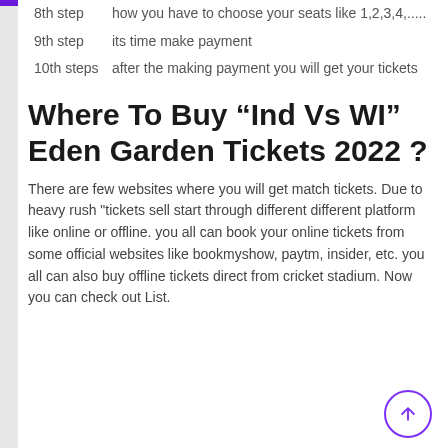8th step: how you have to choose your seats like 1,2,3,4,.....
9th step: its time make payment
10th steps: after the making payment you will get your tickets
Where To Buy “Ind Vs WI” Eden Garden Tickets 2022 ?
There are few websites where you will get match tickets. Due to heavy rush "tickets sell start through different different platform like online or offline. you all can book your online tickets from some official websites like bookmyshow, paytm, insider, etc. you all can also buy offline tickets direct from cricket stadium. Now you can check out List.